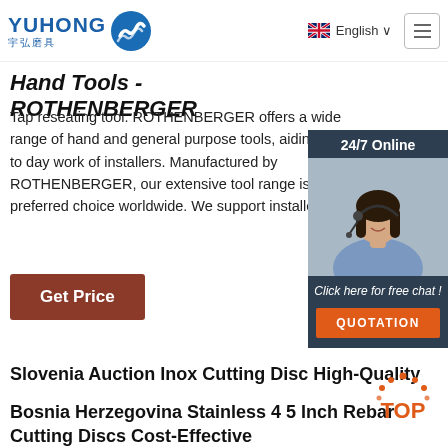[Figure (logo): Yuhong logo with blue wave icon and Chinese characters 宇弘磨具]
English
Hand Tools - ROTHENBERGER
Tap reseating tool. ROTHENBERGER offers a wide range of hand and general purpose tools, aiding the day to day work of installers. Manufactured by ROTHENBERGER, our extensive tool range is the preferred choice worldwide. We support installers …
[Figure (photo): Customer service representative with headset, 24/7 Online chat widget with QUOTATION button]
Get Price
Slovenia Auction Inox Cutting Disc High-Quality
Bosnia Herzegovina Stainless 4 5 Inch Rebar Cutting Discs Cost-Effective